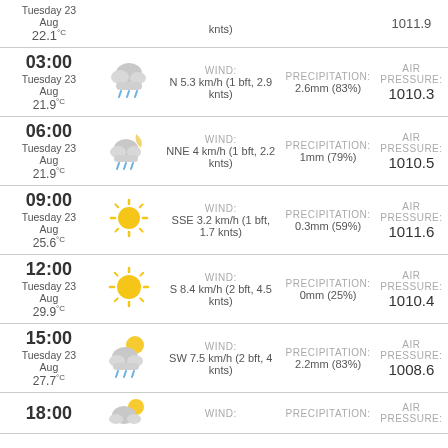| Time | Icon/Temp | Wind | Precipitation | Air Pressure |
| --- | --- | --- | --- | --- |
| 00:00
Tuesday 23 Aug
22.1°C | (rain) | N ... knts | ... | 1011.9 |
| 03:00
Tuesday 23 Aug
21.9°C | (rain) | N 5.3 km/h (1 bft, 2.9 knts) | 2.6mm (83%) | 1010.3 |
| 06:00
Tuesday 23 Aug
21.9°C | (moon-rain) | NNE 4 km/h (1 bft, 2.2 knts) | 1mm (79%) | 1010.5 |
| 09:00
Tuesday 23 Aug
25.6°C | (sun) | SSE 3.2 km/h (1 bft, 1.7 knts) | 0.3mm (59%) | 1011.6 |
| 12:00
Tuesday 23 Aug
29.9°C | (sun) | S 8.4 km/h (2 bft, 4.5 knts) | 0mm (25%) | 1010.4 |
| 15:00
Tuesday 23 Aug
27.7°C | (partly-cloudy-rain) | SW 7.5 km/h (2 bft, 4 knts) | 2.2mm (83%) | 1008.6 |
| 18:00 | (partly-sunny) | WIND: | PRECIPITATION: | AIR PRESSURE: |